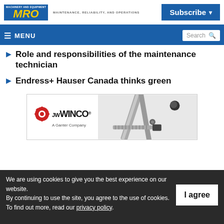MRO — MAINTENANCE, RELIABILITY, AND OPERATIONS | Subscribe
≡ MENU | Search
Role and responsibilities of the maintenance technician
Endress+ Hauser Canada thinks green
[Figure (logo): JW WINCO A Ganter Company advertisement banner with metal hardware tools]
We are using cookies to give you the best experience on our website.
By continuing to use the site, you agree to the use of cookies.
To find out more, read our privacy policy.